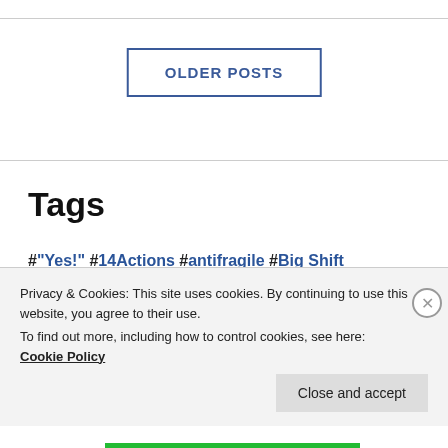OLDER POSTS
Tags
#"Yes!" #14Actions #antifragile #Big Shift #Brain #Brand #BrandBoard #CAWW #challenge #change #Cluetrain Manifesto #community #complexity #content marketing
Privacy & Cookies: This site uses cookies. By continuing to use this website, you agree to their use.
To find out more, including how to control cookies, see here:
Cookie Policy
Close and accept